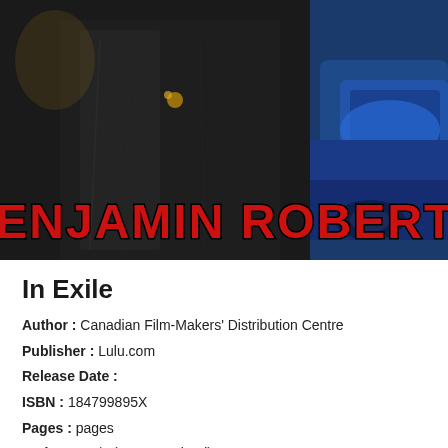[Figure (illustration): Book cover image showing a figure in dark clothing in front of a blue sports car, with large red bold text 'BENJAMIN ROBERTS' across the lower portion of the image]
In Exile
Author : Canadian Film-Makers' Distribution Centre
Publisher : Lulu.com
Release Date :
ISBN : 184799895X
Pages : pages
Rating : 4.9/5 (998 Download)